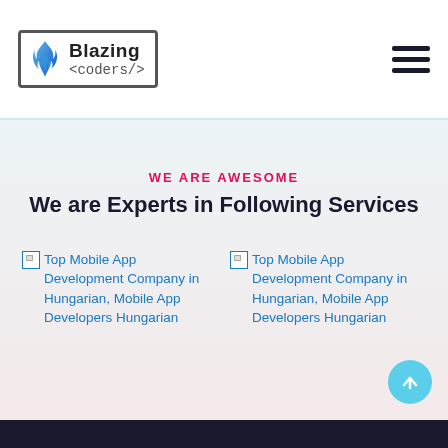Blazing <coders/>
WE ARE AWESOME
We are Experts in Following Services
[Figure (illustration): Broken image placeholder labeled: Top Mobile App Development Company in Hungarian, Mobile App Developers Hungarian (left card)]
[Figure (illustration): Broken image placeholder labeled: Top Mobile App Development Company in Hungarian, Mobile App Developers Hungarian (right card)]